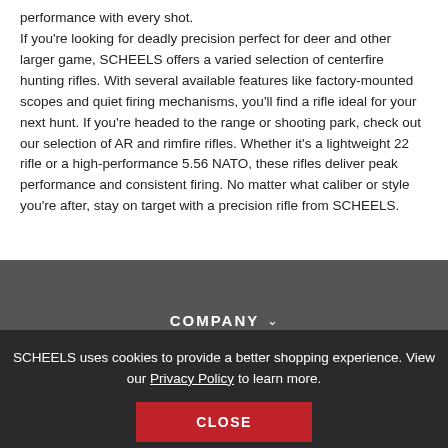performance with every shot.
If you're looking for deadly precision perfect for deer and other larger game, SCHEELS offers a varied selection of centerfire hunting rifles. With several available features like factory-mounted scopes and quiet firing mechanisms, you'll find a rifle ideal for your next hunt. If you're headed to the range or shooting park, check out our selection of AR and rimfire rifles. Whether it's a lightweight 22 rifle or a high-performance 5.56 NATO, these rifles deliver peak performance and consistent firing. No matter what caliber or style you're after, stay on target with a precision rifle from SCHEELS.
COMPANY
SCHEELS uses cookies to provide a better shopping experience. View our Privacy Policy to learn more.